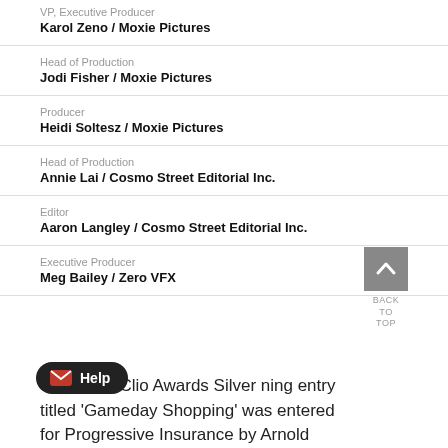VP, Executive Producer
Karol Zeno / Moxie Pictures
Head of Production
Jodi Fisher / Moxie Pictures
Producer
Heidi Soltesz / Moxie Pictures
Head of Production
Annie Lai / Cosmo Street Editorial Inc.
Editor
Aaron Langley / Cosmo Street Editorial Inc.
Executive Producer
Meg Bailey / Zero VFX
This 2022 Clio Awards Silver ning entry titled 'Gameday Shopping' was entered for Progressive Insurance by Arnold